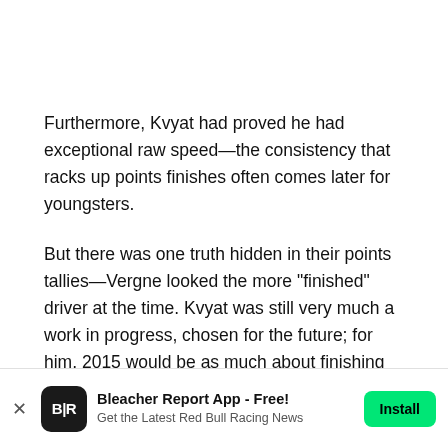Furthermore, Kvyat had proved he had exceptional raw speed—the consistency that racks up points finishes often comes later for youngsters.
But there was one truth hidden in their points tallies—Vergne looked the more "finished" driver at the time. Kvyat was still very much a work in progress, chosen for the future; for him, 2015 would be as much about finishing his apprenticeship as it would be about establishing himself as a top talent.
Bleacher Report App - Free! Get the Latest Red Bull Racing News